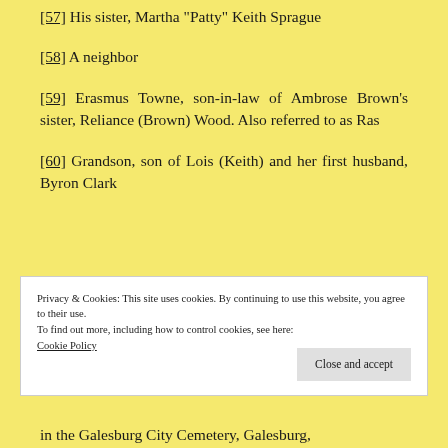[57] His sister, Martha "Patty" Keith Sprague
[58] A neighbor
[59] Erasmus Towne, son-in-law of Ambrose Brown's sister, Reliance (Brown) Wood. Also referred to as Ras
[60] Grandson, son of Lois (Keith) and her first husband, Byron Clark
Privacy & Cookies: This site uses cookies. By continuing to use this website, you agree to their use.
To find out more, including how to control cookies, see here:
Cookie Policy
in the Galesburg City Cemetery, Galesburg,